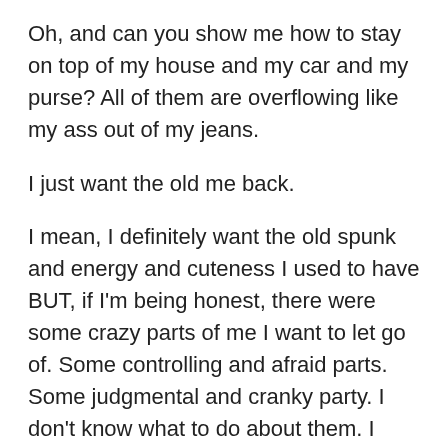Oh, and can you show me how to stay on top of my house and my car and my purse? All of them are overflowing like my ass out of my jeans.
I just want the old me back.
I mean, I definitely want the old spunk and energy and cuteness I used to have BUT, if I'm being honest, there were some crazy parts of me I want to let go of. Some controlling and afraid parts. Some judgmental and cranky party. I don't know what to do about them. I think I've let my past creep in.
It wasn't a great past. It was pretty painful. I'm strong. I kept going, but I don't know that I've